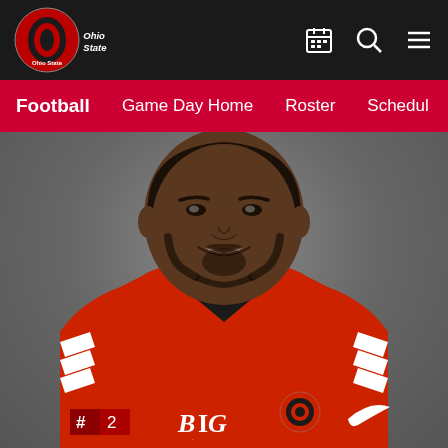Ohio State Athletics - Football
Football  Game Day Home  Roster  Schedule
[Figure (photo): Ohio State football player headshot wearing #2 red jersey with BIG logo and Nike swoosh, smiling, gray background]